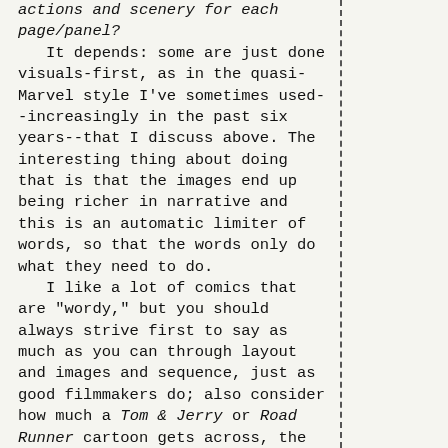actions and scenery for each page/panel? It depends: some are just done visuals-first, as in the quasi-Marvel style I've sometimes used--increasingly in the past six years--that I discuss above. The interesting thing about doing that is that the images end up being richer in narrative and this is an automatic limiter of words, so that the words only do what they need to do. I like a lot of comics that are "wordy," but you should always strive first to say as much as you can through layout and images and sequence, just as good filmmakers do; also consider how much a Tom & Jerry or Road Runner cartoon gets across, the sheer number of distinct sequences, without any words at all. Or the better silent films,